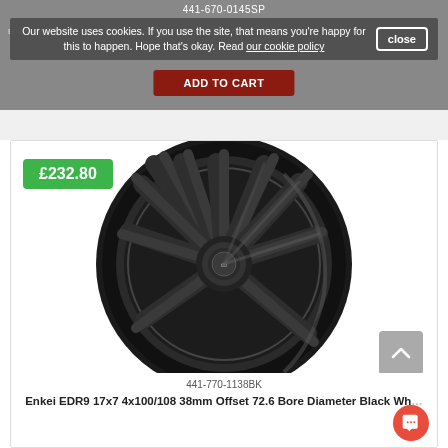441-670-0145SP
Our website uses cookies. If you use the site, that means you're happy for this to happen. Hope that's okay. Read our cookie policy
close
ADD TO CART
£232.80
[Figure (photo): Enkei EDR9 black alloy wheel with 10 spokes, glossy black finish, shown in product listing]
441-770-1138BK
Enkei EDR9 17x7 4x100/108 38mm Offset 72.6 Bore Diameter Black Wheel